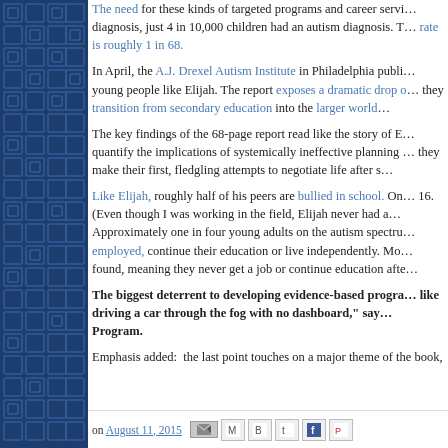The need for these kinds of targeted programs and career services is great. Just a generation ago, before the widespread use of autism as a diagnosis, just 4 in 10,000 children had an autism diagnosis. Today, the rate is roughly 1 in 68.
In April, the A.J. Drexel Autism Institute in Philadelphia published a groundbreaking report on the real lives of young people like Elijah. The report exposes a dramatic drop off in services and supports as they transition from secondary education into the larger world.
The key findings of the 68-page report read like the story of Elijah's life. They quantify the implications of systemically ineffective planning and preparation as they make their first, fledgling attempts to negotiate life after school.
Like Elijah, roughly half of his peers are bullied in school. On average, bullying begins at 16. (Even though I was working in the field, Elijah never had a formal IEP or transition plan.) Approximately one in four young adults on the autism spectrum are never employed, continue their education or live independently. More than a third are completely found, meaning they never get a job or continue education after high school.
The biggest deterrent to developing evidence-based programs is the lack of data. "It's like driving a car through the fog with no dashboard," says the Transition to Independence Program.
Emphasis added:  the last point touches on a major theme of the book,
on August 11, 2015